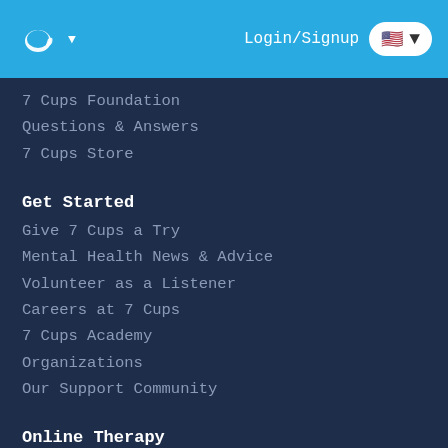7 Cups – Login/Signup
7 Cups Foundation
Questions & Answers
7 Cups Store
Get Started
Give 7 Cups a Try
Mental Health News & Advice
Volunteer as a Listener
Careers at 7 Cups
7 Cups Academy
Organizations
Our Support Community
Online Therapy
Considering Therapy?
Online Therapy at 7 Cups
Search for a Nearby Therapist
Terms